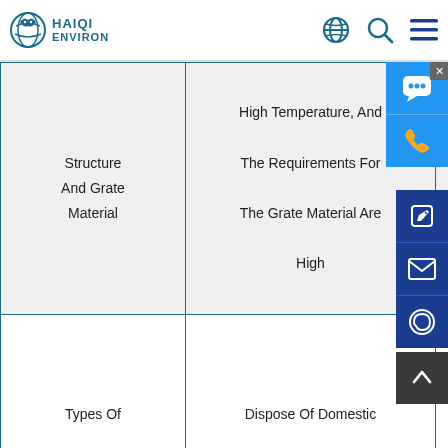HAIQI ENVIRON
| Structure And Grate Material | Grate Works Under High Temperature, And The Requirements For The Grate Material Are High | Low Temperature State, And The Requirements The Grate Material Are Low |
| --- | --- | --- |
| Types Of Garbage | Dispose Of Domestic Waste | It Can Process Domestic Waste, Industrial Waste, And Hazardous Waste With High |